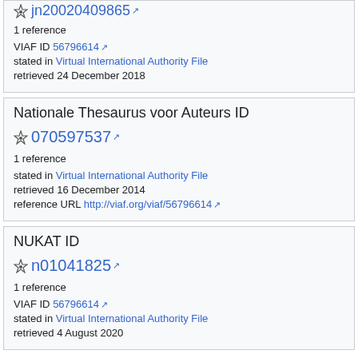jn20020409865 [external link]
1 reference
VIAF ID 56796614 [external link]
stated in Virtual International Authority File
retrieved 24 December 2018
Nationale Thesaurus voor Auteurs ID
070597537 [external link]
1 reference
stated in Virtual International Authority File
retrieved 16 December 2014
reference URL http://viaf.org/viaf/56796614 [external link]
NUKAT ID
n01041825 [external link]
1 reference
VIAF ID 56796614 [external link]
stated in Virtual International Authority File
retrieved 4 August 2020